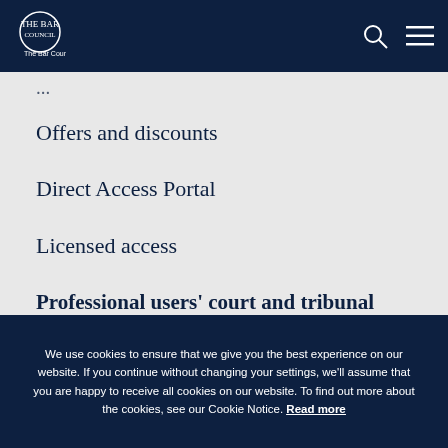The Bar Council
Offers and discounts
Direct Access Portal
Licensed access
Professional users' court and tribunal access scheme
Fees collection
Immigration Support for barristers
We use cookies to ensure that we give you the best experience on our website. If you continue without changing your settings, we'll assume that you are happy to receive all cookies on our website. To find out more about the cookies, see our Cookie Notice. Read more